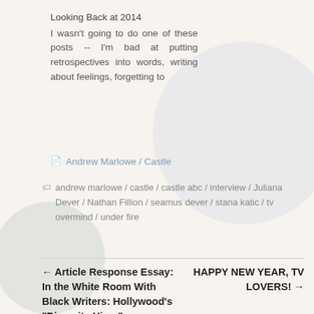Looking Back at 2014
I wasn't going to do one of these posts -- I'm bad at putting retrospectives into words, writing about feelings, forgetting to
Andrew Marlowe / Castle
andrew marlowe / castle / castle abc / interview / Juliana Dever / Nathan Fillion / seamus dever / stana katic / tv overmind / under fire
← Article Response Essay: In the White Room With Black Writers: Hollywood's "Diversity Hires"
HAPPY NEW YEAR, TV LOVERS! →